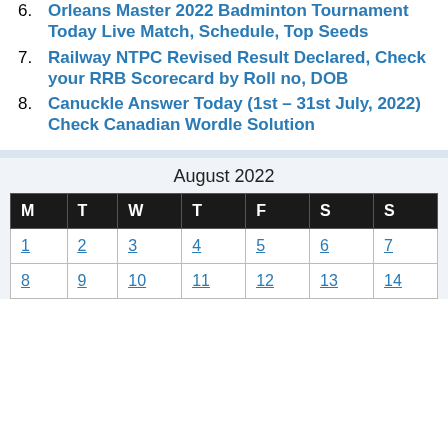6. Orleans Master 2022 Badminton Tournament Today Live Match, Schedule, Top Seeds
7. Railway NTPC Revised Result Declared, Check your RRB Scorecard by Roll no, DOB
8. Canuckle Answer Today (1st – 31st July, 2022) Check Canadian Wordle Solution
| M | T | W | T | F | S | S |
| --- | --- | --- | --- | --- | --- | --- |
| 1 | 2 | 3 | 4 | 5 | 6 | 7 |
| 8 | 9 | 10 | 11 | 12 | 13 | 14 |